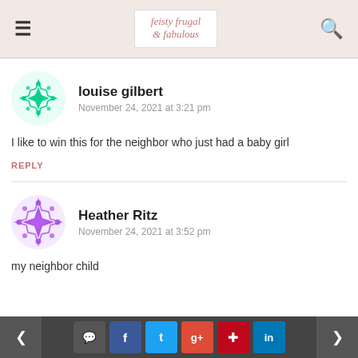feisty frugal fabulous
louise gilbert
November 24, 2021 at 3:21 pm
I like to win this for the neighbor who just had a baby girl
REPLY
Heather Ritz
November 24, 2021 at 3:52 pm
my neighbor child
< [comment] [f] [t] [g+] [p] [in] >